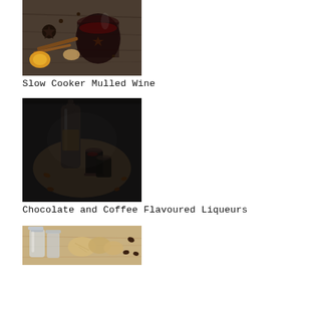[Figure (photo): Mulled wine in a glass cup with spices including cinnamon sticks, star anise, cloves, orange slices, and brown sugar on a wooden surface]
Slow Cooker Mulled Wine
[Figure (photo): Dark glass bottle and small glasses with chocolate and coffee flavoured liqueurs on a wooden board]
Chocolate and Coffee Flavoured Liqueurs
[Figure (photo): Jars with ginger and other ingredients on a wooden cutting board]